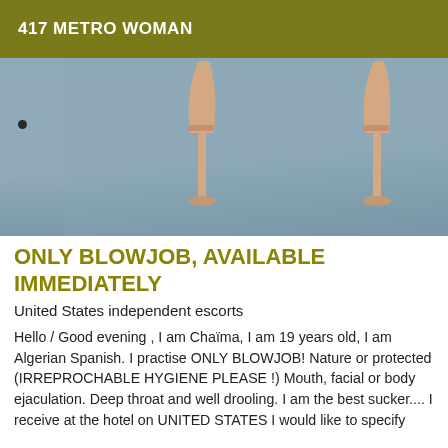417 METRO WOMAN
[Figure (photo): Photo showing two high-heeled shoes against a blue-grey background, viewed from above/behind a person wearing jeans]
ONLY BLOWJOB, AVAILABLE IMMEDIATELY
United States independent escorts
Hello / Good evening , I am Chaïma, I am 19 years old, I am Algerian Spanish. I practise ONLY BLOWJOB! Nature or protected (IRREPROCHABLE HYGIENE PLEASE !) Mouth, facial or body ejaculation. Deep throat and well drooling. I am the best sucker.... I receive at the hotel on UNITED STATES I would like to specify